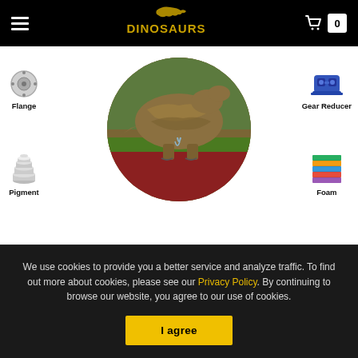DINOSAURS website header with hamburger menu, logo, and cart (0)
[Figure (illustration): Circular cropped photo of a realistic dinosaur sculpture/animatronic in an outdoor setting with red mulch ground and grass, surrounded by component icons: Flange (metal flange icon), Gear Reducer (blue gear reducer icon), Pigment (stacked discs icon), Foam (layered foam icon)]
We use cookies to provide you a better service and analyze traffic. To find out more about cookies, please see our Privacy Policy. By continuing to browse our website, you agree to our use of cookies.
I agree